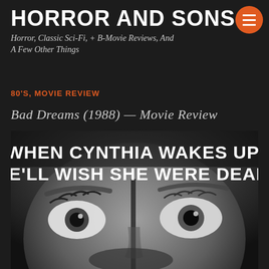HORROR AND SONS
Horror, Classic Sci-Fi, + B-Movie Reviews, And A Few Other Things
80'S, MOVIE REVIEW
Bad Dreams (1988) — Movie Review
[Figure (photo): Black and white close-up of a face with wide, startled eyes. Text overlay reads: WHEN CYNTHIA WAKES UP, SHE'LL WISH SHE WERE DEAD...]